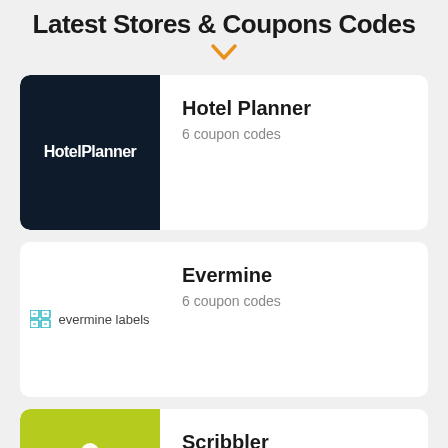Latest Stores & Coupons Codes
[Figure (illustration): Orange downward chevron arrow icon]
[Figure (logo): HotelPlanner logo on dark navy background]
Hotel Planner
6 coupon codes
[Figure (logo): Evermine labels logo: teal icon and text 'evermine labels']
Evermine
6 coupon codes
[Figure (logo): Scribbler logo on yellow-green background with icon]
Scribbler
6 coupon codes